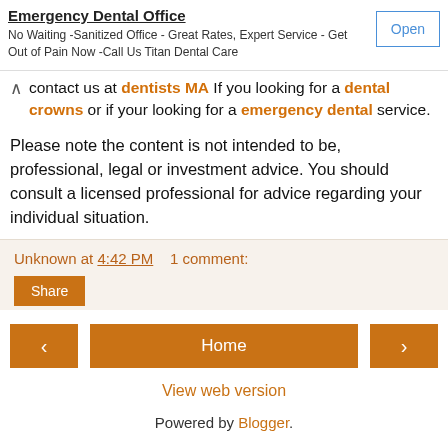[Figure (other): Advertisement box for Emergency Dental Office with Open button]
contact us at dentists MA If you looking for a dental crowns or if your looking for a emergency dental service.
Please note the content is not intended to be, professional, legal or investment advice. You should consult a licensed professional for advice regarding your individual situation.
Unknown at 4:42 PM   1 comment:
Share
[Figure (other): Navigation buttons: left arrow, Home, right arrow]
View web version
Powered by Blogger.